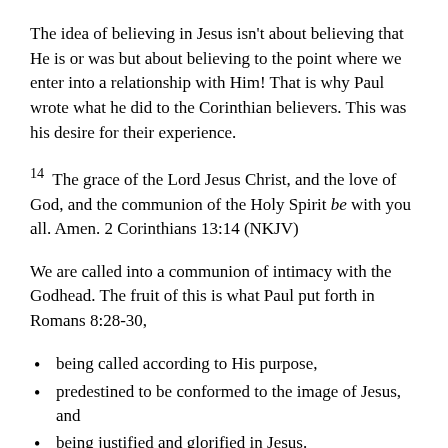The idea of believing in Jesus isn't about believing that He is or was but about believing to the point where we enter into a relationship with Him! That is why Paul wrote what he did to the Corinthian believers. This was his desire for their experience.
14 The grace of the Lord Jesus Christ, and the love of God, and the communion of the Holy Spirit be with you all. Amen. 2 Corinthians 13:14 (NKJV)
We are called into a communion of intimacy with the Godhead. The fruit of this is what Paul put forth in Romans 8:28-30,
being called according to His purpose,
predestined to be conformed to the image of Jesus, and
being justified and glorified in Jesus.